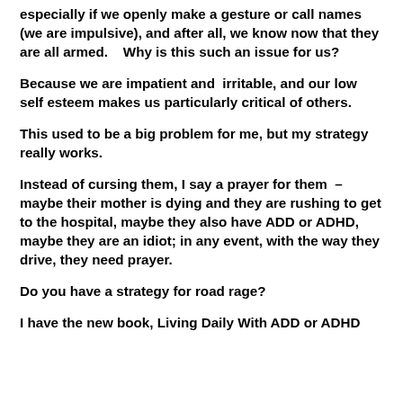especially if we openly make a gesture or call names (we are impulsive), and after all, we know now that they are all armed.    Why is this such an issue for us?
Because we are impatient and  irritable, and our low self esteem makes us particularly critical of others.
This used to be a big problem for me, but my strategy really works.
Instead of cursing them, I say a prayer for them  – maybe their mother is dying and they are rushing to get to the hospital, maybe they also have ADD or ADHD, maybe they are an idiot; in any event, with the way they drive, they need prayer.
Do you have a strategy for road rage?
I have the new book, Living Daily With ADD or ADHD